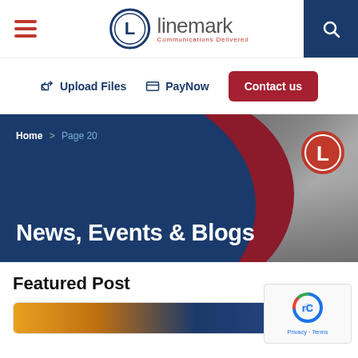[Figure (logo): Linemark Communications Delivered logo with L in a circle]
Upload Files  PayNow  Contact us
[Figure (screenshot): Hero banner showing News, Events & Blogs heading with breadcrumb Home > Page 20 and delivery van in background]
News, Events & Blogs
Featured Post
[Figure (photo): Partial photo at bottom of featured post card]